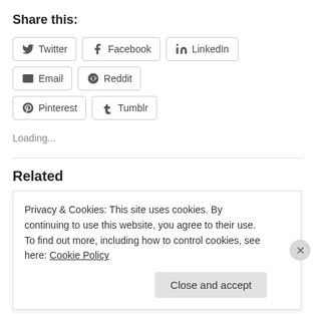Share this:
[Figure (other): Social sharing buttons: Twitter, Facebook, LinkedIn, Email, Reddit, Pinterest, Tumblr]
Loading...
Related
Cost Effective 'net zero' energy in Jerseyville, Illinois subdivision
July 1, 2014
Privacy & Cookies: This site uses cookies. By continuing to use this website, you agree to their use. To find out more, including how to control cookies, see here: Cookie Policy
Close and accept